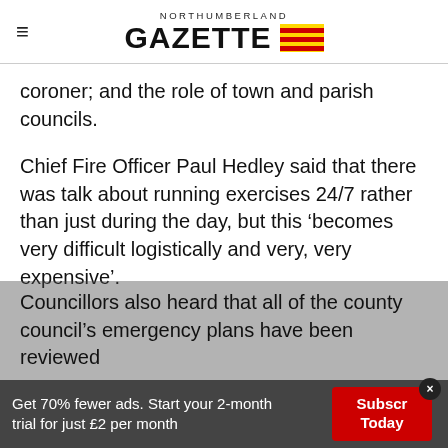NORTHUMBERLAND GAZETTE
coroner; and the role of town and parish councils.
Chief Fire Officer Paul Hedley said that there was talk about running exercises 24/7 rather than just during the day, but this ‘becomes very difficult logistically and very, very expensive’.
Councillors also heard that all of the county council's emergency plans have been reviewed
Get 70% fewer ads. Start your 2-month trial for just £2 per month | Subscribe Today